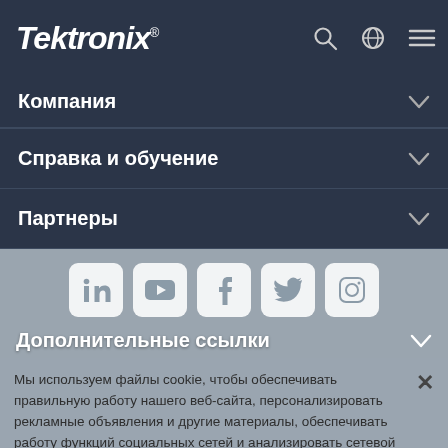Tektronix
Компания
Справка и обучение
Партнеры
[Figure (screenshot): Social media icons: LinkedIn, YouTube, Facebook, Twitter, Instagram]
Дополнительные ссылки
Мы используем файлы cookie, чтобы обеспечивать правильную работу нашего веб-сайта, персонализировать рекламные объявления и другие материалы, обеспечивать работу функций социальных сетей и анализировать сетевой трафик. Мы также предоставляем информацию об использовании вами нашего веб-сайта своим партнерам по социальным сетям, рекламе и аналитическим системам.
Согласиться с использованием всех файлов cookie